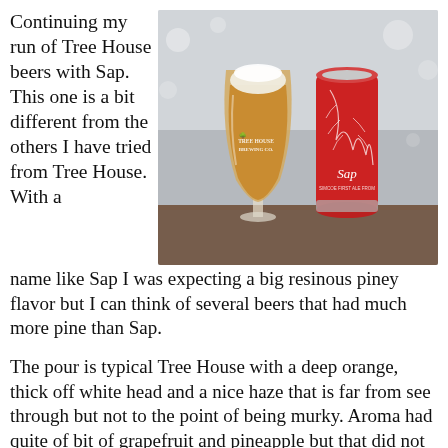Continuing my run of Tree House beers with Sap. This one is a bit different from the others I have tried from Tree House. With a name like Sap I was expecting a big resinous piney flavor but I can think of several beers that had much more pine than Sap.
[Figure (photo): Photo of a Tree House Brewing Co. tulip glass filled with orange hazy beer alongside a red Sap beer can, sitting on a wooden surface with a snowy blurred background.]
The pour is typical Tree House with a deep orange, thick off white head and a nice haze that is far from see through but not to the point of being murky. Aroma had quite of bit of grapefruit and pineapple but that did not flow through to the taste. Flavor was slightly dank and earthy with a bit of pine in